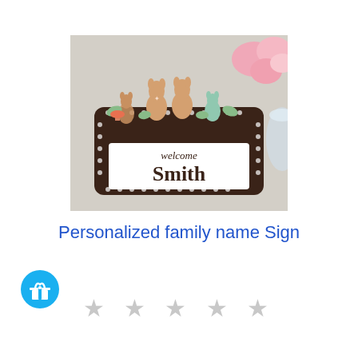[Figure (photo): A decorative personalized family name sign with deer figurines on a dark brown polka-dot frame, with 'welcome Smith' text on a white plaque, pink flowers in the background]
Personalized family name Sign
[Figure (other): Blue circular gift icon badge]
★ ★ ★ ★ ★